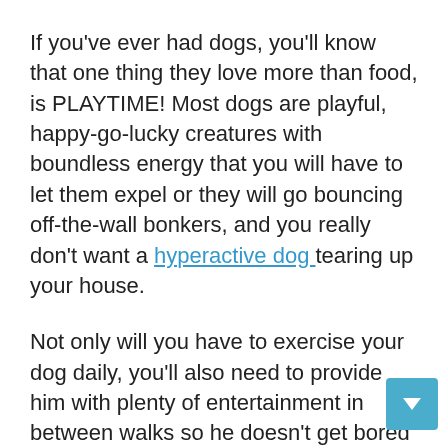If you've ever had dogs, you'll know that one thing they love more than food, is PLAYTIME! Most dogs are playful, happy-go-lucky creatures with boundless energy that you will have to let them expel or they will go bouncing off-the-wall bonkers, and you really don't want a hyperactive dog tearing up your house.
Not only will you have to exercise your dog daily, you'll also need to provide him with plenty of entertainment in between walks so he doesn't get bored and decide to eat your shoes or dig his way to the center of the universe.
There are a plethora of dog toys out there, and before you choose what exactly you want, you'll